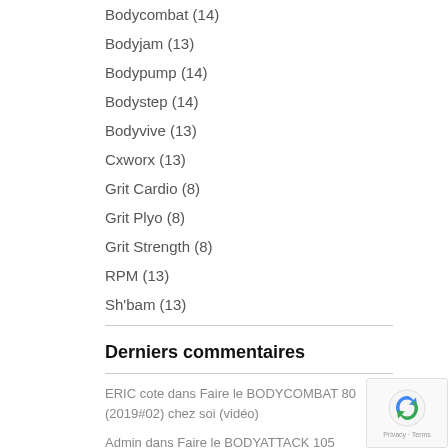Bodycombat (14)
Bodyjam (13)
Bodypump (14)
Bodystep (14)
Bodyvive (13)
Cxworx (13)
Grit Cardio (8)
Grit Plyo (8)
Grit Strength (8)
RPM (13)
Sh'bam (13)
Derniers commentaires
ERIC cote dans Faire le BODYCOMBAT 80 (2019#02) chez soi (vidéo)
Admin dans Faire le BODYATTACK 105